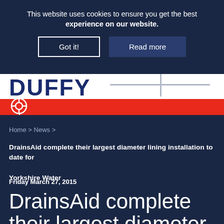This website uses cookies to ensure you get the best experience on our website.
Got it!
Read more
[Figure (logo): Duffy company logo with red stripe and crosshair icon]
Home > News >
DrainsAid complete their largest diameter lining installation to date for Yorkshire Water
Friday March 27, 2015
DrainsAid complete their largest diameter lining to